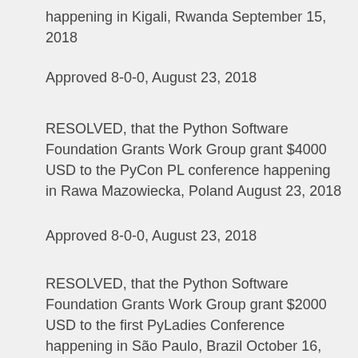happening in Kigali, Rwanda September 15, 2018
Approved 8-0-0, August 23, 2018
RESOLVED, that the Python Software Foundation Grants Work Group grant $4000 USD to the PyCon PL conference happening in Rawa Mazowiecka, Poland August 23, 2018
Approved 8-0-0, August 23, 2018
RESOLVED, that the Python Software Foundation Grants Work Group grant $2000 USD to the first PyLadies Conference happening in São Paulo, Brazil October 16, 2018
Approved 7-0-0, September 5, 2018